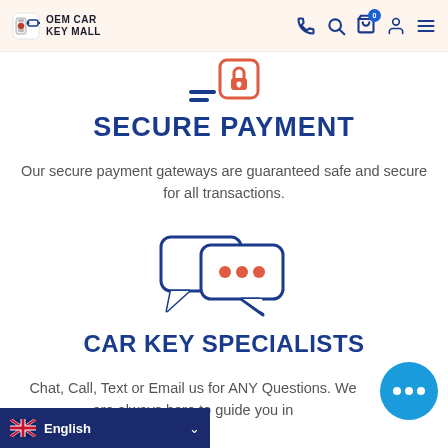OEM CAR KEY MALL
[Figure (illustration): Partial secure payment icon (shield/lock) at top, cropped]
SECURE PAYMENT
Our secure payment gateways are guaranteed safe and secure for all transactions.
[Figure (illustration): Chat bubbles icon with three orange dots inside a blue speech bubble]
CAR KEY SPECIALISTS
Chat, Call, Text or Email us for ANY Questions. We are always here to guide you in the right direction.
[Figure (illustration): Blue circular chat support button with three white dots]
English